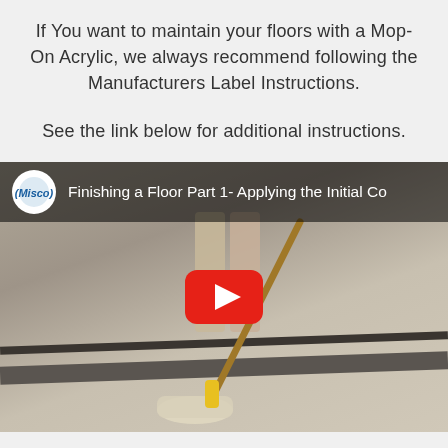If You want to maintain your floors with a Mop-On Acrylic, we always recommend following the Manufacturers Label Instructions.
See the link below for additional instructions.
[Figure (screenshot): YouTube video thumbnail showing a person mopping a floor with a yellow mop. Video title reads 'Finishing a Floor Part 1- Applying the Initial Co...' with MISCO logo. Red YouTube play button visible in center.]